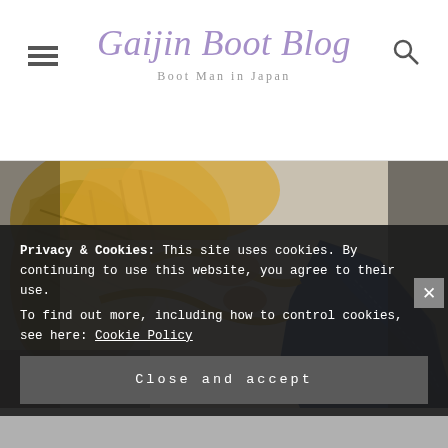Gaijin Boot Blog
Boot Man in Japan
[Figure (photo): Close-up photo of a blue leather boot being laced with rope/cord, showing the boot toe and lacing detail against a white background with woven rope texture]
Privacy & Cookies: This site uses cookies. By continuing to use this website, you agree to their use.
To find out more, including how to control cookies, see here: Cookie Policy
Close and accept